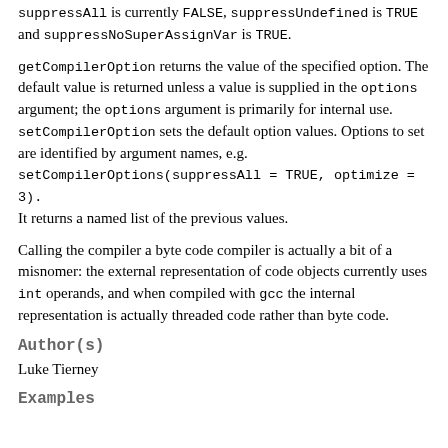suppressAll is currently FALSE, suppressUndefined is TRUE and suppressNoSuperAssignVar is TRUE.
getCompilerOption returns the value of the specified option. The default value is returned unless a value is supplied in the options argument; the options argument is primarily for internal use. setCompilerOption sets the default option values. Options to set are identified by argument names, e.g. setCompilerOptions(suppressAll = TRUE, optimize = 3). It returns a named list of the previous values.
Calling the compiler a byte code compiler is actually a bit of a misnomer: the external representation of code objects currently uses int operands, and when compiled with gcc the internal representation is actually threaded code rather than byte code.
Author(s)
Luke Tierney
Examples